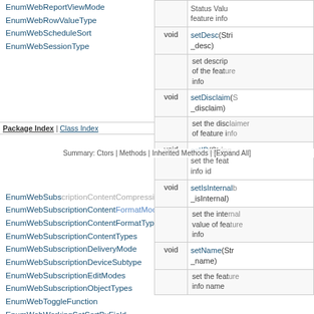EnumWebReportViewMode
EnumWebRowValueType
EnumWebScheduleSort
EnumWebSessionType
Package Index | Class Index
Summary: Ctors | Methods | Inherited Methods | [Expand All]
EnumWebSubscriptionContentCompressionStatus
EnumWebSubscriptionContentFormatModes
EnumWebSubscriptionContentFormatTypes
EnumWebSubscriptionContentTypes
EnumWebSubscriptionDeliveryMode
EnumWebSubscriptionDeviceSubtype
EnumWebSubscriptionEditModes
EnumWebSubscriptionObjectTypes
EnumWebToggleFunction
EnumWebWorkingSetSortByField
EnumXmlPriorityType
EnumXmlStatePhase
FeatureInfo
FeatureInfos
FilterDetailsFormatting
ProjectIndexMetadata
RWDataSetInfo
RWDataSettings
|  | void | Method |
| --- | --- | --- |
| void | setDesc(String _desc) | set description of the feature info |
| void | setDisclaim(String _disclaim) | set the disclaimer of feature info |
| void | setID(String _id) | set the feature info id |
| void | setIsInternal(boolean _isInternal) | set the internal value of feature info |
| void | setName(String _name) | set the feature info name |